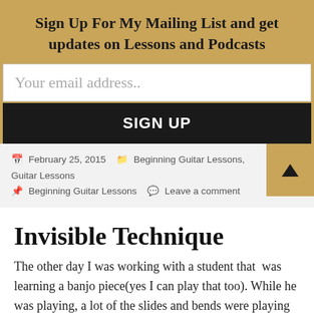Sign Up For My Mailing List and get updates on Lessons and Podcasts
Your email address..
SIGN UP
February 25, 2015  Beginning Guitar Lessons, Guitar Lessons  Beginning Guitar Lessons  Leave a comment
Invisible Technique
The other day I was working with a student that was learning a banjo piece(yes I can play that too). While he was playing, a lot of the slides and bends were playing havoc with the music causing him to have problems with his timing. He was making too